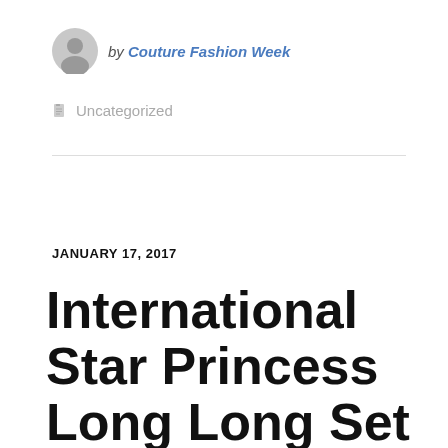by Couture Fashion Week
Uncategorized
JANUARY 17, 2017
International Star Princess Long Long Set to